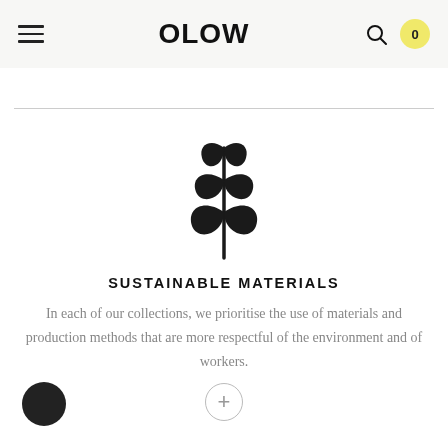OLOW
[Figure (illustration): A stylized plant/leaf icon with multiple pairs of leaves on a stem, rendered in dark silhouette]
SUSTAINABLE MATERIALS
In each of our collections, we prioritise the use of materials and production methods that are more respectful of the environment and of workers.